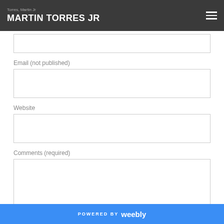MARTIN TORRES JR
Email (not published)
Website
Comments (required)
POWERED BY weebly